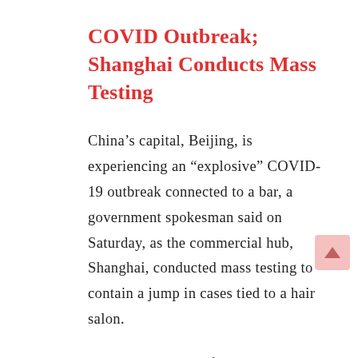COVID Outbreak; Shanghai Conducts Mass Testing
China’s capital, Beijing, is experiencing an “explosive” COVID-19 outbreak connected to a bar, a government spokesman said on Saturday, as the commercial hub, Shanghai, conducted mass testing to contain a jump in cases tied to a hair salon.
The announcement followed a new